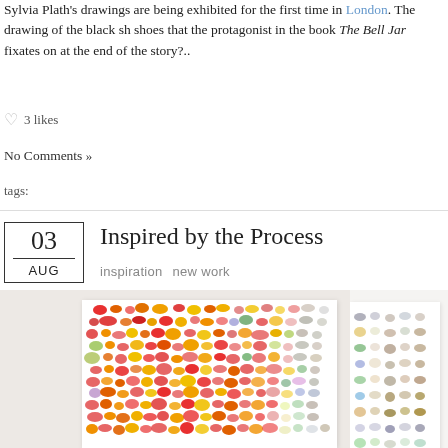Sylvia Plath's drawings are being exhibited for the first time in London. The drawing of the black shoes that the protagonist in the book The Bell Jar fixates on at the end of the story?..
3 likes
No Comments »
tags:
Inspired by the Process
inspiration   new work
[Figure (photo): Colorful abstract watercolor artwork with many small oval and bean-shaped dots/marks in red, orange, yellow, pink, green, purple on white background]